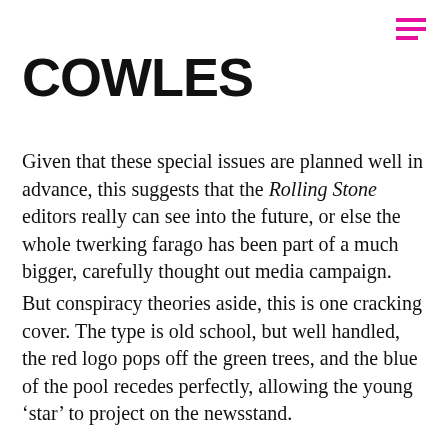[Figure (logo): Hamburger menu icon made of three horizontal magenta/pink lines in the top right corner]
COWLES
Given that these special issues are planned well in advance, this suggests that the Rolling Stone editors really can see into the future, or else the whole twerking farago has been part of a much bigger, carefully thought out media campaign.
But conspiracy theories aside, this is one cracking cover. The type is old school, but well handled, the red logo pops off the green trees, and the blue of the pool recedes perfectly, allowing the young ‘star’ to project on the newsstand.